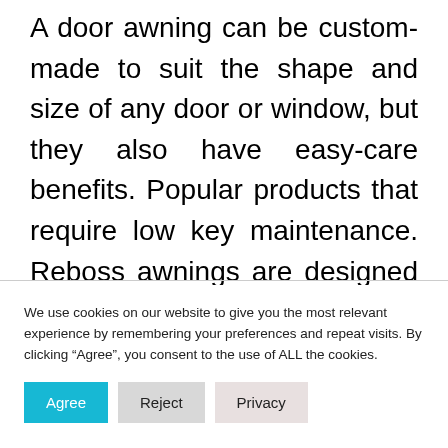A door awning can be custom-made to suit the shape and size of any door or window, but they also have easy-care benefits. Popular products that require low key maintenance. Reboss awnings are designed to protect your patio, doors and windows from all types of weather conditions. The sturdy design provides you with an aesthetic appeal while still providing 99% UV Protection that will last
We use cookies on our website to give you the most relevant experience by remembering your preferences and repeat visits. By clicking “Agree”, you consent to the use of ALL the cookies.